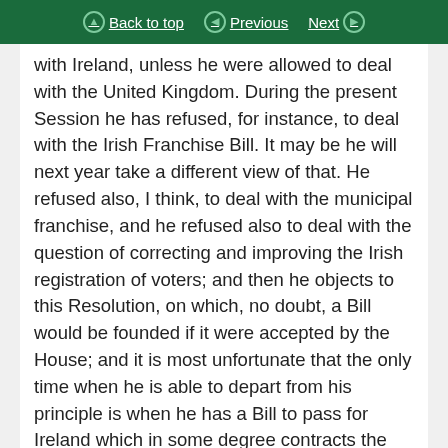Back to top | Previous | Next
with Ireland, unless he were allowed to deal with the United Kingdom. During the present Session he has refused, for instance, to deal with the Irish Franchise Bill. It may be he will next year take a different view of that. He refused also, I think, to deal with the municipal franchise, and he refused also to deal with the question of correcting and improving the Irish registration of voters; and then he objects to this Resolution, on which, no doubt, a Bill would be founded if it were accepted by the House; and it is most unfortunate that the only time when he is able to depart from his principle is when he has a Bill to pass for Ireland which in some degree contracts the liberties of the country. I do not say the Bill passed for Ireland was not